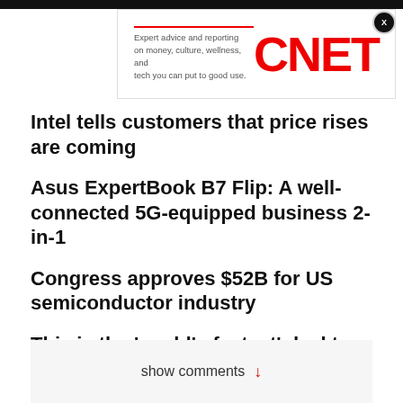[Figure (logo): CNET logo advertisement banner with text: Expert advice and reporting on money, culture, wellness, and tech you can put to good use.]
Intel tells customers that price rises are coming
Asus ExpertBook B7 Flip: A well-connected 5G-equipped business 2-in-1
Congress approves $52B for US semiconductor industry
This is the 'world's fastest' desktop processor, says Intel
Editorial standards
show comments